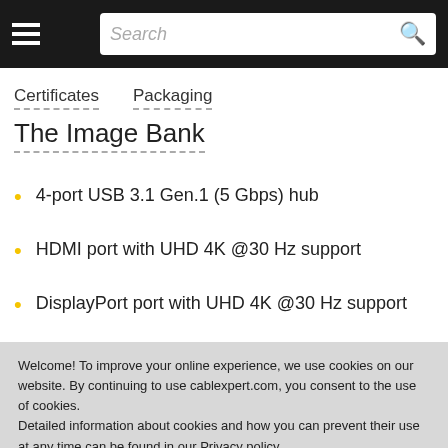Search [navigation bar with hamburger menu and search box]
Certificates   Packaging
The Image Bank
4-port USB 3.1 Gen.1 (5 Gbps) hub
HDMI port with UHD 4K @30 Hz support
DisplayPort port with UHD 4K @30 Hz support
Welcome! To improve your online experience, we use cookies on our website. By continuing to use cablexpert.com, you consent to the use of cookies.
Detailed information about cookies and how you can prevent their use at any time can be found in our Privacy policy.